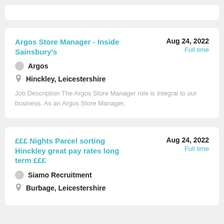Argos Store Manager - Inside Sainsbury's | Aug 24, 2022 | Full time | Argos | Hinckley, Leicestershire | Job Description The Argos Store Manager role is integral to our business. As an Argos Store Manager,
£££ Nights Parcel sorting Hinckley great pay rates long term £££ | Aug 24, 2022 | Full time | Siamo Recruitment | Burbage, Leicestershire